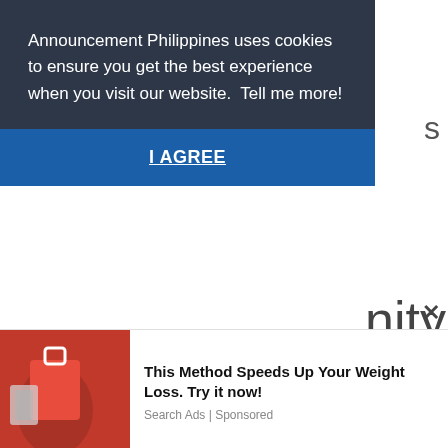Announcement Philippines uses cookies to ensure you get the best experience when you visit our website.  Tell me more!
I AGREE
nity
In their official Facebook page, the Pag-IBIG made the announcement that they are opening their doors to their members by allowing the Calamity Loan and the Multi-Purpose Loan Program (MPL) application to be one online.
So basically, all Pag-IBIG members can take advantage of this situation and apply for the Pag-IBIG Calamity Loan or the Pag-
[Figure (photo): Person in red clothing with shopping bags, partial ad image]
This Method Speeds Up Your Weight Loss. Try it now!
Search Ads | Sponsored